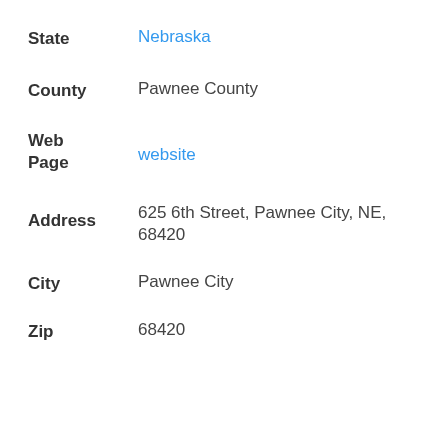State: Nebraska
County: Pawnee County
Web Page: website
Address: 625 6th Street, Pawnee City, NE, 68420
City: Pawnee City
Zip: 68420